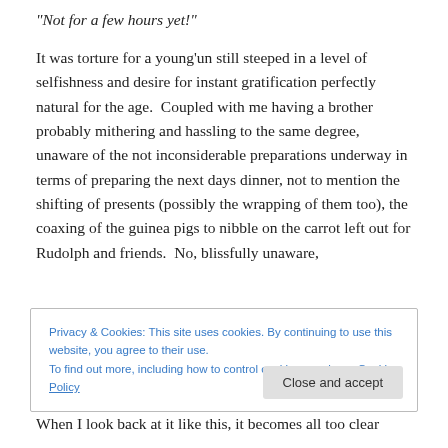“Not for a few hours yet!”
It was torture for a young’un still steeped in a level of selfishness and desire for instant gratification perfectly natural for the age.  Coupled with me having a brother probably mithering and hassling to the same degree, unaware of the not inconsiderable preparations underway in terms of preparing the next days dinner, not to mention the shifting of presents (possibly the wrapping of them too), the coaxing of the guinea pigs to nibble on the carrot left out for Rudolph and friends.  No, blissfully unaware,
Privacy & Cookies: This site uses cookies. By continuing to use this website, you agree to their use.
To find out more, including how to control cookies, see here: Cookie Policy
When I look back at it like this, it becomes all too clear